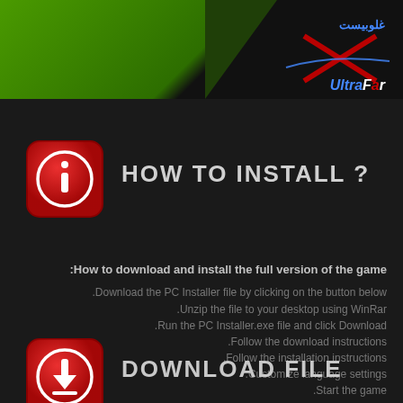[Figure (logo): Header bar with green gradient on left and dark right side containing a stylized logo with Arabic text and 'UltraFar' branding with X motif]
HOW TO INSTALL ?
:How to download and install the full version of the game
.Download the PC Installer file by clicking on the button below
.Unzip the file to your desktop using WinRar
.Run the PC Installer.exe file and click Download
.Follow the download instructions
.Follow the installation instructions
.Customize language settings
.Start the game
DOWNLOAD FILE